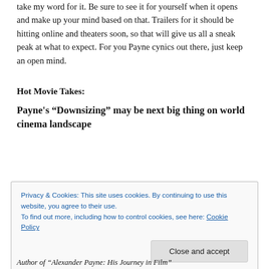take my word for it. Be sure to see it for yourself when it opens and make up your mind based on that. Trailers for it should be hitting online and theaters soon, so that will give us all a sneak peak at what to expect. For you Payne cynics out there, just keep an open mind.
Hot Movie Takes:
Payne's “Downsizing” may be next big thing on world cinema landscape
Privacy & Cookies: This site uses cookies. By continuing to use this website, you agree to their use.
To find out more, including how to control cookies, see here: Cookie Policy
[Close and accept]
Author of “Alexander Payne: His Journey in Film”